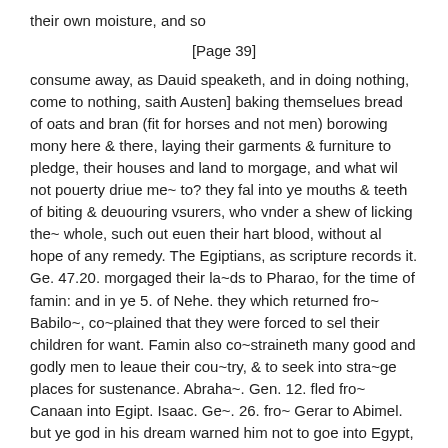their own moisture, and so
[Page 39]
consume away, as Dauid speaketh, and in doing nothing, come to nothing, saith Austen] baking themselues bread of oats and bran (fit for horses and not men) borowing mony here & there, laying their garments & furniture to pledge, their houses and land to morgage, and what wil not pouerty driue me~ to? they fal into ye mouths & teeth of biting & deuouring vsurers, who vnder a shew of licking the~ whole, such out euen their hart blood, without al hope of any remedy. The Egiptians, as scripture records it. Ge. 47.20. morgaged their la~ds to Pharao, for the time of famin: and in ye 5. of Nehe. they which returned fro~ Babilo~, co~plained that they were forced to sel their children for want. Famin also co~straineth many good and godly men to leaue their cou~try, & to seek into stra~ge places for sustenance. Abraha~. Gen. 12. fled fro~ Canaan into Egipt. Isaac. Ge~. 26. fro~ Gerar to Abimel. but ye god in his dream warned him not to goe into Egypt,